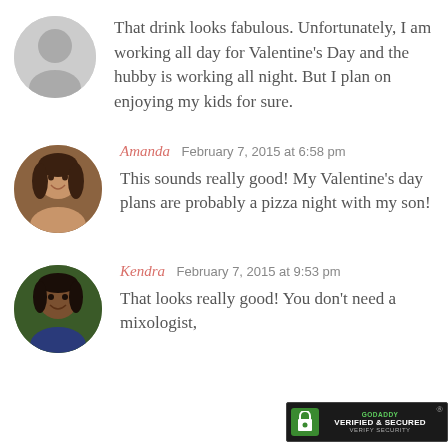[Figure (illustration): Grey default avatar silhouette (no profile photo)]
That drink looks fabulous. Unfortunately, I am working all day for Valentine's Day and the hubby is working all night. But I plan on enjoying my kids for sure.
[Figure (photo): Circular profile photo of Amanda, a smiling young woman with long brown hair]
Amanda  February 7, 2015 at 6:58 pm
This sounds really good! My Valentine's day plans are probably a pizza night with my son!
[Figure (photo): Circular profile photo of Kendra, a smiling woman]
Kendra  February 7, 2015 at 9:53 pm
That looks really good! You don't need a mixologist,
[Figure (logo): GoDaddy Verified & Secured badge]